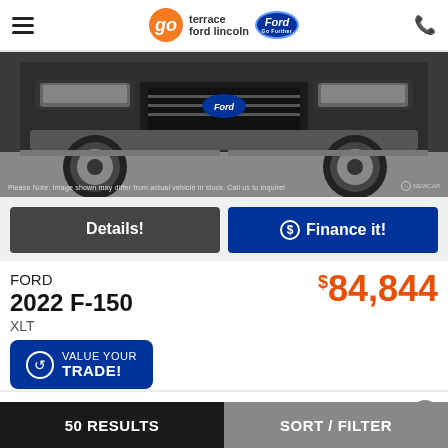go terrace ford lincoln | Ford Go Further
[Figure (photo): Front-end view of a dark/black Ford F-150 truck showing bumper, grille, chrome wheels, and side steps on a pavement surface.]
Please Note: Image shown may differ from actual vehicle in stock. Call us to inquire!
Details!
$ Finance it!
FORD
2022 F-150
XLT
$84,844
VALUE YOUR TRADE!
150 KM. Auto. Black
50 RESULTS   SORT / FILTER